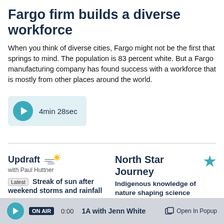Fargo firm builds a diverse workforce
When you think of diverse cities, Fargo might not be the first that springs to mind. The population is 83 percent white. But a Fargo manufacturing company has found success with a workforce that is mostly from other places around the world.
[Figure (other): Video player button showing 4min 28sec duration]
Updraft with Paul Huttner
Latest Streak of sun after weekend storms and rainfall
North Star Journey
Indigenous knowledge of nature shaping science
COVID-19
Email Newsletters
ON AIR 0:00 1A with Jenn White Open In Popup